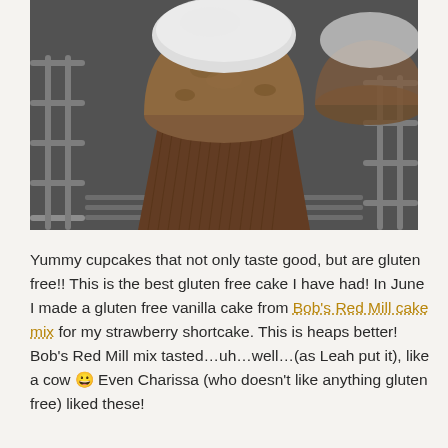[Figure (photo): Close-up photograph of a cupcake with white frosting on top, in a brown paper liner, resting on a metal cooling rack. Another cupcake is partially visible behind it.]
Yummy cupcakes that not only taste good, but are gluten free!! This is the best gluten free cake I have had!  In June I made a gluten free vanilla cake from Bob's Red Mill cake mix for my strawberry shortcake. This is heaps better! Bob's Red Mill mix tasted…uh…well…(as Leah put it), like a cow 😀  Even Charissa (who doesn't like anything gluten free) liked these!